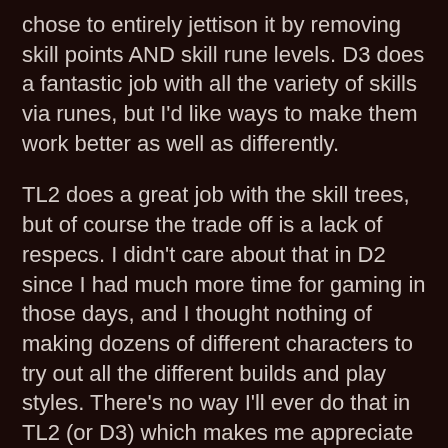chose to entirely jettison it by removing skill points AND skill rune levels. D3 does a fantastic job with all the variety of skills via runes, but I'd like ways to make them work better as well as differently.
TL2 does a great job with the skill trees, but of course the trade off is a lack of respecs. I didn't care about that in D2 since I had much more time for gaming in those days, and I thought nothing of making dozens of different characters to try out all the different builds and play styles. There's no way I'll ever do that in TL2 (or D3) which makes me appreciate the flexibility that D3's freespecing allows.
As for the loot… as everyone points out, you find far more numerous and interesting items right off the bat in TL2, with sets and uniques galore. It's awesome to find items that actually make a noticeable difference